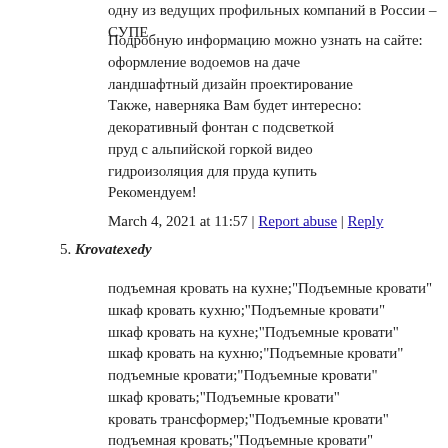одну из ведущих профильных компаний в России – СУПЕ
Подробную информацию можно узнать на сайте:
оформление водоемов на даче
ландшафтный дизайн проектирование
Также, наверняка Вам будет интересно:
декоративный фонтан с подсветкой
пруд с альпийской горкой видео
гидроизоляция для пруда купить
Рекомендуем!
March 4, 2021 at 11:57 | Report abuse | Reply
5. Krovatexedy
подъемная кровать на кухне;"Подъемные кровати"
шкаф кровать кухню;"Подъемные кровати"
шкаф кровать на кухне;"Подъемные кровати"
шкаф кровать на кухню;"Подъемные кровати"
подъемные кровати;"Подъемные кровати"
шкаф кровать;"Подъемные кровати"
кровать трансформер;"Подъемные кровати"
подъемная кровать;"Подъемные кровати"
у кого есть подъемная кровать;"Подъемные кровати"
у кого есть подъемные кровати;"Подъемные кровати"
кровати подъемные для;"Подъемные кровати"
шкаф кровать для;"Подъемные кровати"